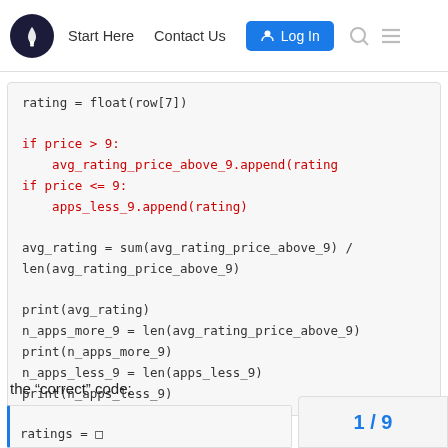Start Here  Contact Us  Log In
the “correct” code:
[Figure (screenshot): Partial next code block showing 'ratings =' at the bottom, cut off]